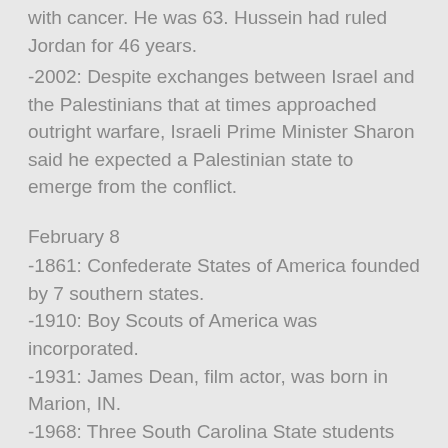with cancer. He was 63. Hussein had ruled Jordan for 46 years.
-2002: Despite exchanges between Israel and the Palestinians that at times approached outright warfare, Israeli Prime Minister Sharon said he expected a Palestinian state to emerge from the conflict.
February 8
-1861: Confederate States of America founded by 7 southern states.
-1910: Boy Scouts of America was incorporated.
-1931: James Dean, film actor, was born in Marion, IN.
-1968: Three South Carolina State students were killed during a segregation protest in Orangeburg, South Carolina.
-1986: Diminutive actor Gary Coleman was born in